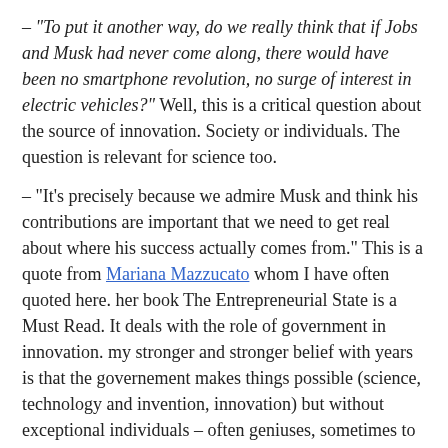– “To put it another way, do we really think that if Jobs and Musk had never come along, there would have been no smartphone revolution, no surge of interest in electric vehicles?” Well, this is a critical question about the source of innovation. Society or individuals. The question is relevant for science too.
– “It’s precisely because we admire Musk and think his contributions are important that we need to get real about where his success actually comes from.” This is a quote from Mariana Mazzucato whom I have often quoted here. her book The Entrepreneurial State is a Must Read. It deals with the role of government in innovation. my stronger and stronger belief with years is that the governement makes things possible (science, technology and invention, innovation) but without exceptional individuals – often geniuses, sometimes to the border of insanity – I am not sure so much happens.
Now let me quote more Ashley Vance because the final